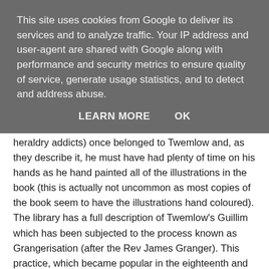This site uses cookies from Google to deliver its services and to analyze traffic. Your IP address and user-agent are shared with Google along with performance and security metrics to ensure quality of service, generate usage statistics, and to detect and address abuse.
LEARN MORE   OK
Chetham's copy of Guillim (a book familiar to most heraldry addicts) once belonged to Twemlow and, as they describe it, he must have had plenty of time on his hands as he hand painted all of the illustrations in the book (this is actually not uncommon as most copies of the book seem to have the illustrations hand coloured). The library has a full description of Twemlow's Guillim which has been subjected to the process known as Grangerisation (after the Rev James Granger). This practice, which became popular in the eighteenth and nineteenth centuries, is also known as 'extra illustration' and is essentially where the owner of a book dismantles and rebinds it to include prints, drawings, maps or even photographs. Mr Twemlow's selection includes mainly family portraits (including Hector and Silvia his dogs) and images of the area, notably Haughton Hall...